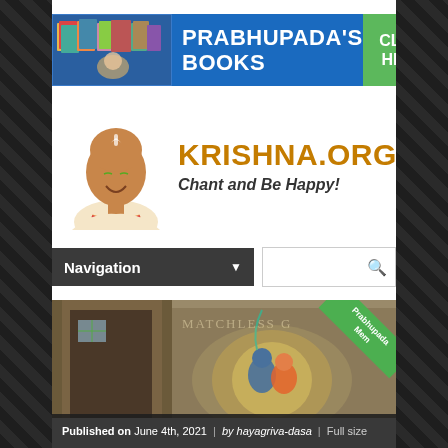[Figure (illustration): Banner advertisement for Prabhupada's Books with book covers on left, blue background, and green CLICK HERE button on right]
[Figure (logo): KRISHNA.ORG logo with portrait of Srila Prabhupada on left, site name in orange bold text, and tagline 'Chant and Be Happy!' in italic below]
[Figure (screenshot): Navigation dropdown labeled 'Navigation' with arrow and search box with magnifying glass icon]
[Figure (illustration): Painting of Krishna and Radha with text 'Matchless Gifts' and green ribbon overlay reading 'Prabhupada Memories']
Published on June 4th, 2021 | by hayagriva-dasa | Full size